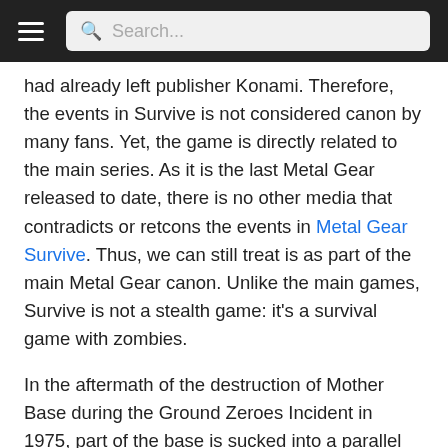Search...
had already left publisher Konami. Therefore, the events in Survive is not considered canon by many fans. Yet, the game is directly related to the main series. As it is the last Metal Gear released to date, there is no other media that contradicts or retcons the events in Metal Gear Survive. Thus, we can still treat is as part of the main Metal Gear canon. Unlike the main games, Survive is not a stealth game: it's a survival game with zombies.
In the aftermath of the destruction of Mother Base during the Ground Zeroes Incident in 1975, part of the base is sucked into a parallel world through a wormhole.